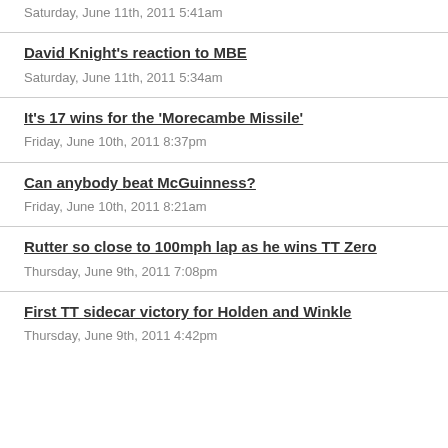Saturday, June 11th, 2011 5:41am
David Knight&#39;s reaction to MBE
Saturday, June 11th, 2011 5:34am
It&#39;s 17 wins for the &#39;Morecambe Missile&#39;
Friday, June 10th, 2011 8:37pm
Can anybody beat McGuinness?
Friday, June 10th, 2011 8:21am
Rutter so close to 100mph lap as he wins TT Zero
Thursday, June 9th, 2011 7:08pm
First TT sidecar victory for Holden and Winkle
Thursday, June 9th, 2011 4:42pm